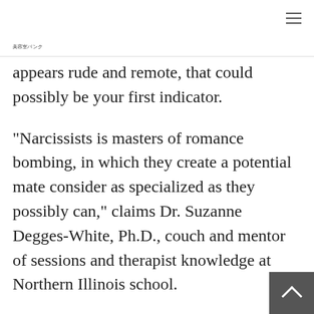美容室バンク
appears rude and remote, that could possibly be your first indicator.
“Narcissists is masters of romance bombing, in which they create a potential mate consider as specialized as they possibly can,” claims Dr. Suzanne Degges-White, Ph.D., couch and mentor of sessions and therapist knowledge at Northern Illinois school.
And narcissists might be greater at